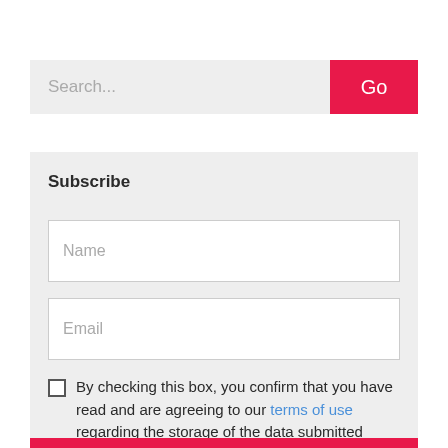Search...
Go
Subscribe
Name
Email
By checking this box, you confirm that you have read and are agreeing to our terms of use regarding the storage of the data submitted through this form.